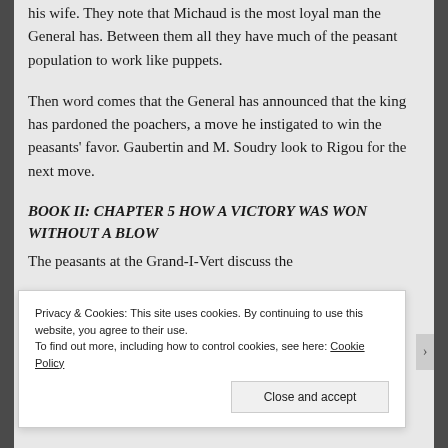his wife. They note that Michaud is the most loyal man the General has. Between them all they have much of the peasant population to work like puppets.
Then word comes that the General has announced that the king has pardoned the poachers, a move he instigated to win the peasants' favor. Gaubertin and M. Soudry look to Rigou for the next move.
BOOK II: CHAPTER 5 HOW A VICTORY WAS WON WITHOUT A BLOW
The peasants at the Grand-I-Vert discuss the
Privacy & Cookies: This site uses cookies. By continuing to use this website, you agree to their use.
To find out more, including how to control cookies, see here: Cookie Policy
Close and accept